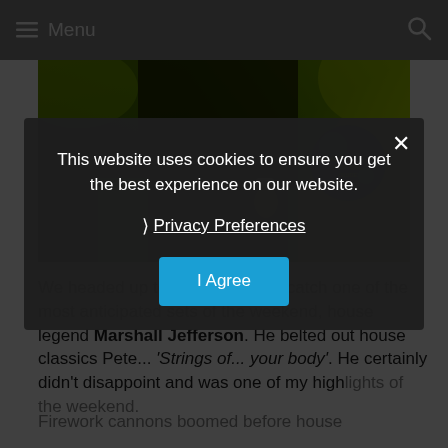Menu
[Figure (photo): A performer on stage with green and yellow lighting, wearing a dark suit, with a Summer Festival Guide logo overlay in the bottom right.]
We headed up to the Toiltrees to catch one of the most anticipated sets of the weekend, house legend Marshall Jefferson. He belted out house classics Pete... 'Strings of... your body'. He certainly didn't disappoint and was one of my highlights of the weekend.
Firework cannons boomed before house
This website uses cookies to ensure you get the best experience on our website.
Privacy Preferences
I Agree